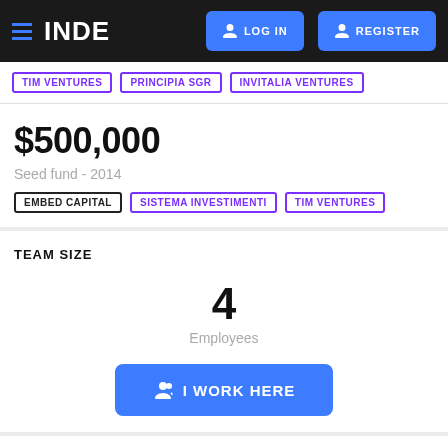INDE  LOG IN  REGISTER
TIM VENTURES | PRINCIPIA SGR | INVITALIA VENTURES
$500,000
Seed fund - 2014
EMBED CAPITAL | SISTEMA INVESTIMENTI | TIM VENTURES
TEAM SIZE
4
Employees
I WORK HERE
LOCATION